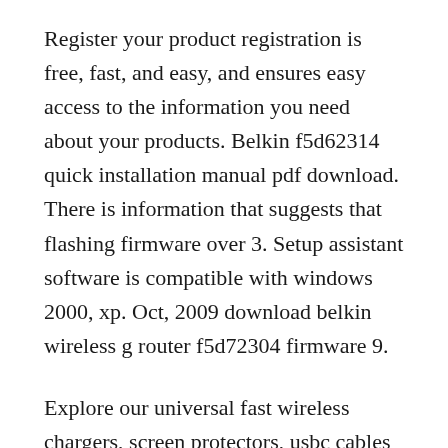Register your product registration is free, fast, and easy, and ensures easy access to the information you need about your products. Belkin f5d62314 quick installation manual pdf download. There is information that suggests that flashing firmware over 3. Setup assistant software is compatible with windows 2000, xp. Oct, 2009 download belkin wireless g router f5d72304 firmware 9.
Explore our universal fast wireless chargers, screen protectors, usbc cables and more. See the forum posts here for possible help